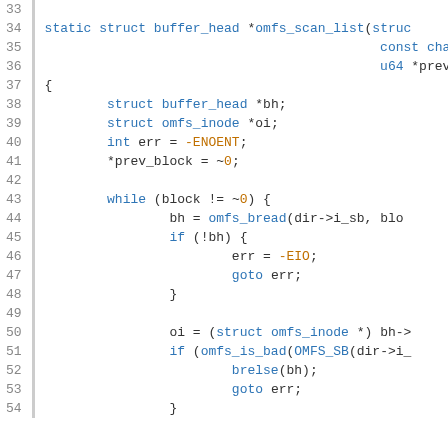Source code listing showing lines 33-54 of omfs_scan_list function in C
33: (blank)
34: static struct buffer_head *omfs_scan_list(struct
35:                                             const char *name
36:                                             u64 *prev_block
37: {
38:         struct buffer_head *bh;
39:         struct omfs_inode *oi;
40:         int err = -ENOENT;
41:         *prev_block = ~0;
42: (blank)
43:         while (block != ~0) {
44:                 bh = omfs_bread(dir->i_sb, bloc
45:                 if (!bh) {
46:                         err = -EIO;
47:                         goto err;
48:                 }
49: (blank)
50:                 oi = (struct omfs_inode *) bh->
51:                 if (omfs_is_bad(OMFS_SB(dir->i_
52:                         brelse(bh);
53:                         goto err;
54:                 }